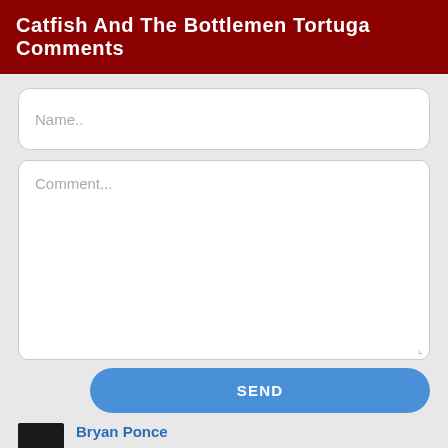Catfish And The Bottlemen Tortuga Comments
Name..
Comment...
SEND
Bryan Ponce
When I grow up I will buy every single album they made